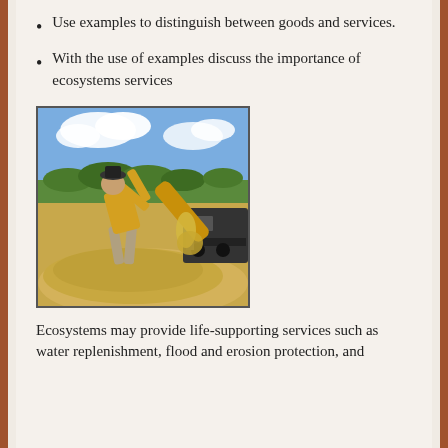Use examples to distinguish between goods and services.
With the use of examples discuss the importance of ecosystems services
[Figure (photo): A person pouring grain from a large hose onto a pile of grain in a field, with farm machinery visible in the background and a blue sky with clouds.]
Ecosystems may provide life-supporting services such as water replenishment, flood and erosion protection, and